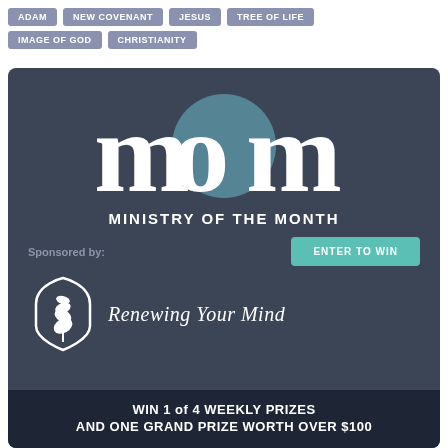ADAM
NEW COVENANT
JESUS
TREE OF LIFE
IMAGE OF GOD
CHRISTIANITY
[Figure (illustration): Ministry of the Month promotional card with dark slate background. Large stylized 'mom' text logo with teal circle accent, subtitle 'MINISTRY OF THE MONTH', sponsored by Renewing Your Mind with plant logo, teal 'ENTER TO WIN' button, and dark bottom banner reading 'WIN 1 of 4 WEEKLY PRIZES AND ONE GRAND PRIZE WORTH OVER $100']